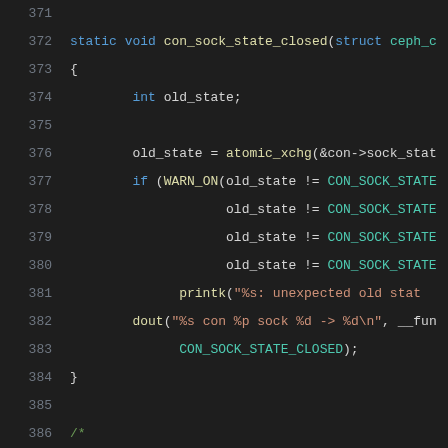Source code listing lines 371-391, C kernel code for ceph socket connection state handling
371 (blank)
372     static void con_sock_state_closed(struct ceph_c
373     {
374             int old_state;
375 (blank)
376             old_state = atomic_xchg(&con->sock_stat
377             if (WARN_ON(old_state != CON_SOCK_STATE
378                         old_state != CON_SOCK_STATE
379                         old_state != CON_SOCK_STATE
380                         old_state != CON_SOCK_STATE
381                   printk("%s: unexpected old stat
382             dout("%s con %p sock %d -> %d\n", __fun
383                   CON_SOCK_STATE_CLOSED);
384     }
385 (blank)
386     /*
387      * socket callback functions
388      */
389 (blank)
390     /* data available on socket, or listen socket n
391     static void ceph_sock_data_ready(struct sock *s